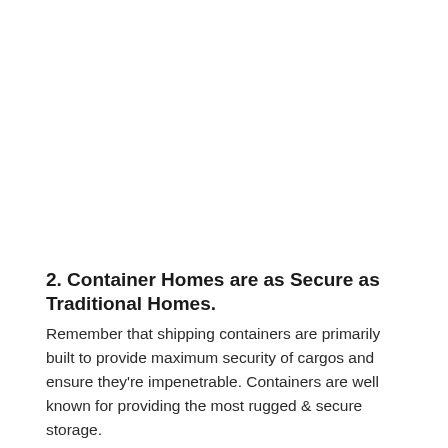2. Container Homes are as Secure as Traditional Homes.
Remember that shipping containers are primarily built to provide maximum security of cargos and ensure they're impenetrable. Containers are well known for providing the most rugged & secure storage.
That said, we need to note that metals are cut away to create openings for doors and windows during…